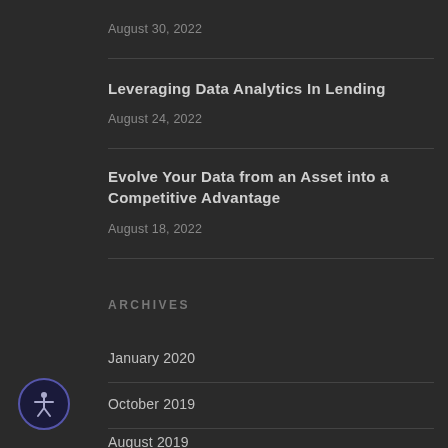August 30, 2022
Leveraging Data Analytics In Lending
August 24, 2022
Evolve Your Data from an Asset into a Competitive Advantage
August 18, 2022
ARCHIVES
January 2020
October 2019
August 2019